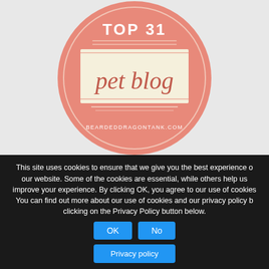[Figure (logo): Circular badge with salmon/coral color. Text reads 'TOP 31' at top, then 'pet blog' in script font on a cream banner, and 'BEARDEDDRAGONTANK.COM' at the bottom.]
2014 NOSE-TO-NOSE AWARD WINNER
[Figure (photo): Partial photo of green leafy foliage/trees, cropped at the bottom by the cookie consent banner.]
This site uses cookies to ensure that we give you the best experience on our website. Some of the cookies are essential, while others help us improve your experience. By clicking OK, you agree to our use of cookies. You can find out more about our use of cookies and our privacy policy by clicking on the Privacy Policy button below.